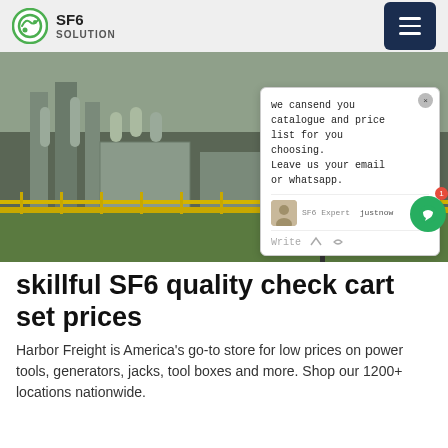SF6 SOLUTION
[Figure (photo): Outdoor electrical substation with SF6 gas-insulated switchgear equipment, grey metal cabinets and cylinders, yellow fence barrier, green grass, partially overlaid by a chat popup widget showing: 'we can send you catalogue and price list for you choosing. Leave us your email or whatsapp.' with SF6 Expert label and 'just now' timestamp.]
skillful SF6 quality check cart set prices
Harbor Freight is America's go-to store for low prices on power tools, generators, jacks, tool boxes and more. Shop our 1200+ locations nationwide.